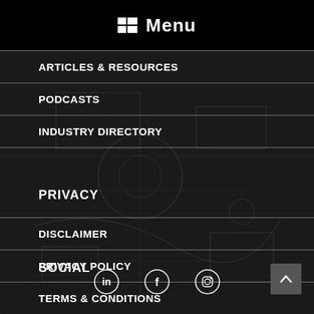Menu
ARTICLES & RESOURCES
PODCASTS
INDUSTRY DIRECTORY
PRIVACY
DISCLAIMER
PRIVACY POLICY
TERMS & CONDITIONS
SOCIAL
[Figure (illustration): Social media icons: LinkedIn, Facebook, Instagram]